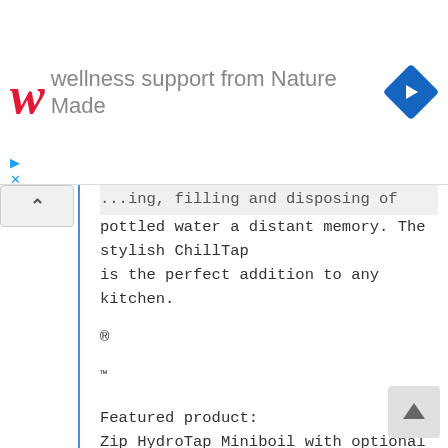[Figure (screenshot): Walgreens advertisement banner showing 'wellness support from Nature Made' with red W logo and blue navigation diamond icon]
...bottled water a distant memory. The stylish ChillTap is the perfect addition to any kitchen.

®

™

Featured product:
Zip HydroTap Miniboil with optional font
(90915UK) in Bright Chrome finish

Tap Colour Options

ChillTap
[Figure (screenshot): Scroll-to-top button with upward arrow]